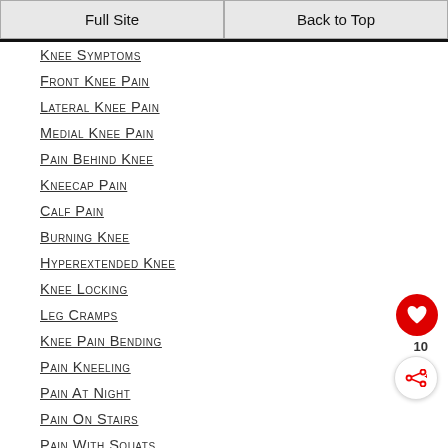Full Site | Back to Top
Knee Symptoms
Front Knee Pain
Lateral Knee Pain
Medial Knee Pain
Pain Behind Knee
Kneecap Pain
Calf Pain
Burning Knee
Hyperextended Knee
Knee Locking
Leg Cramps
Knee Pain Bending
Pain Kneeling
Pain At Night
Pain On Stairs
Pain With Squats
Popping Knee
Running Knee Pain